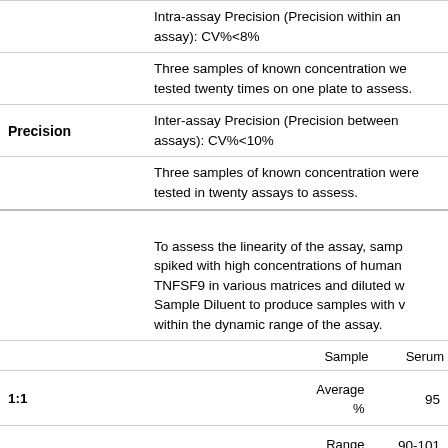|  |  |
| --- | --- |
|  | Intra-assay Precision (Precision within an assay): CV%<8% |
|  | Three samples of known concentration were tested twenty times on one plate to assess. |
| Precision | Inter-assay Precision (Precision between assays): CV%<10% |
|  | Three samples of known concentration were tested in twenty assays to assess. |
|  | To assess the linearity of the assay, samples were spiked with high concentrations of human TNFSF9 in various matrices and diluted with Sample Diluent to produce samples with values within the dynamic range of the assay. |
|  | Sample | Serum | ... |
| 1:1 | Average % | 95 |
|  | Range | 90-101 |